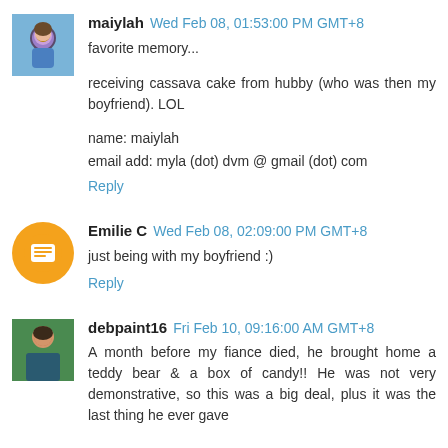[Figure (photo): Avatar photo of maiylah, a woman in a blue top]
maiylah Wed Feb 08, 01:53:00 PM GMT+8
favorite memory...
receiving cassava cake from hubby (who was then my boyfriend). LOL
name: maiylah
email add: myla (dot) dvm @ gmail (dot) com
Reply
[Figure (logo): Blogger orange circle avatar icon for Emilie C]
Emilie C Wed Feb 08, 02:09:00 PM GMT+8
just being with my boyfriend :)
Reply
[Figure (photo): Avatar photo of debpaint16, person with green background]
debpaint16 Fri Feb 10, 09:16:00 AM GMT+8
A month before my fiance died, he brought home a teddy bear & a box of candy!! He was not very demonstrative, so this was a big deal, plus it was the last thing he ever gave